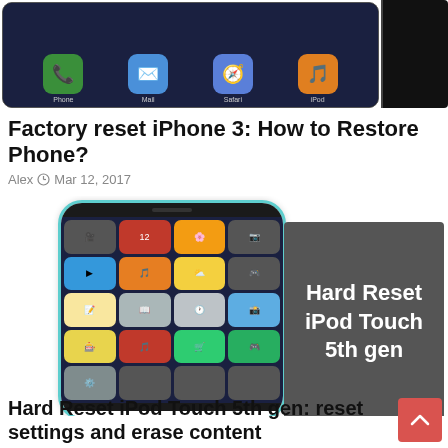[Figure (photo): iPhone 3 device showing home screen with apps including Phone, Mail, Safari, iPod, plus a black rectangular device on the right]
Factory reset iPhone 3: How to Restore Phone?
Alex  Mar 12, 2017
[Figure (photo): iPod Touch 5th gen showing home screen with apps, teal border, with dark gray box overlay reading 'Hard Reset iPod Touch 5th gen' in white text]
Hard Reset iPod Touch 5th gen: reset settings and erase content